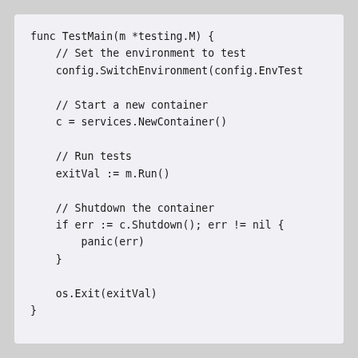[Figure (screenshot): Code snippet in Go showing a TestMain function that sets the environment to test, starts a new container, runs tests, shuts down the container, and exits with the exit value.]